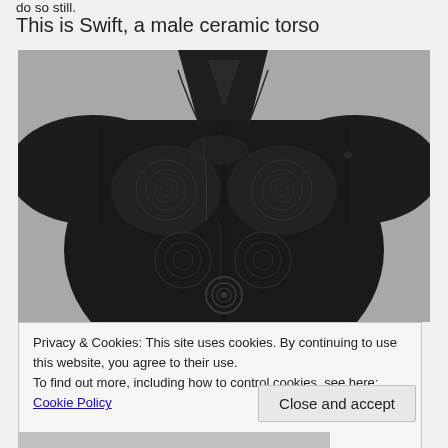do so still.
This is Swift, a male ceramic torso
[Figure (photo): A dark black ceramic male torso sculpture with intricate spiral and swirl patterns engraved across the chest and abdomen, photographed against a light grey background. The torso has no head, arms, or lower body. The ceramic surface is highly polished and dark, with visible crack lines and detailed decorative motifs.]
Privacy & Cookies: This site uses cookies. By continuing to use this website, you agree to their use.
To find out more, including how to control cookies, see here: Cookie Policy
Close and accept